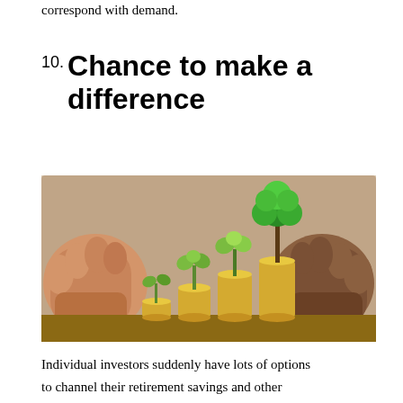correspond with demand.
10. Chance to make a difference
[Figure (photo): Two hands cupping four stacks of coins of increasing height, each topped with a growing plant — from a small seedling to a large tree — symbolizing investment growth and responsible finance.]
Individual investors suddenly have lots of options to channel their retirement savings and other funds into responsible investments that are